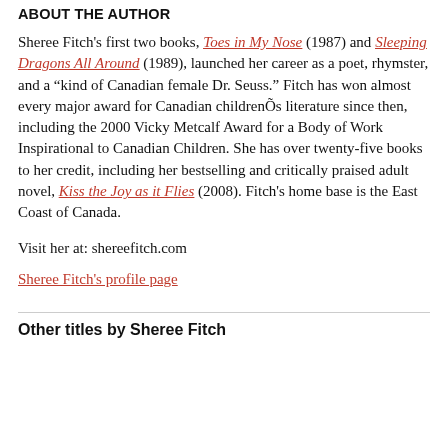ABOUT THE AUTHOR
Sheree Fitch's first two books, Toes in My Nose (1987) and Sleeping Dragons All Around (1989), launched her career as a poet, rhymster, and a “kind of Canadian female Dr. Seuss.” Fitch has won almost every major award for Canadian childrenÕs literature since then, including the 2000 Vicky Metcalf Award for a Body of Work Inspirational to Canadian Children. She has over twenty-five books to her credit, including her bestselling and critically praised adult novel, Kiss the Joy as it Flies (2008). Fitch’s home base is the East Coast of Canada.
Visit her at: shereefitch.com
Sheree Fitch's profile page
Other titles by Sheree Fitch